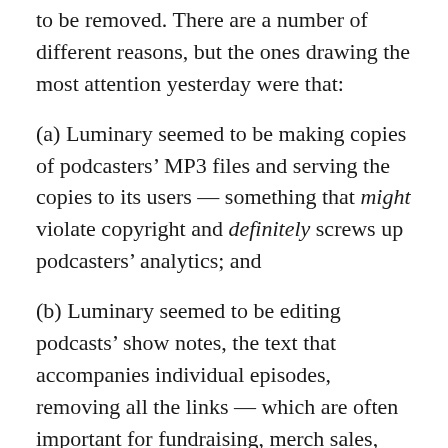to be removed. There are a number of different reasons, but the ones drawing the most attention yesterday were that:
(a) Luminary seemed to be making copies of podcasters' MP3 files and serving the copies to its users — something that might violate copyright and definitely screws up podcasters' analytics; and
(b) Luminary seemed to be editing podcasts' show notes, the text that accompanies individual episodes, removing all the links — which are often important for fundraising, merch sales, and other forms of audience revenue.
Yesterday afternoon, Luminary tweeted out an